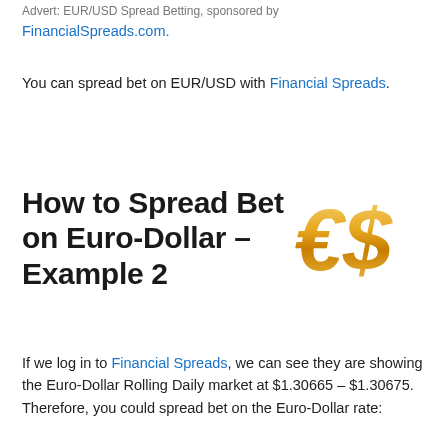Advert: EUR/USD Spread Betting, sponsored by FinancialSpreads.com.
You can spread bet on EUR/USD with Financial Spreads.
How to Spread Bet on Euro-Dollar – Example 2
[Figure (illustration): Gold metallic Euro and Dollar currency symbols (€$)]
If we log in to Financial Spreads, we can see they are showing the Euro-Dollar Rolling Daily market at $1.30665 – $1.30675. Therefore, you could spread bet on the Euro-Dollar rate: